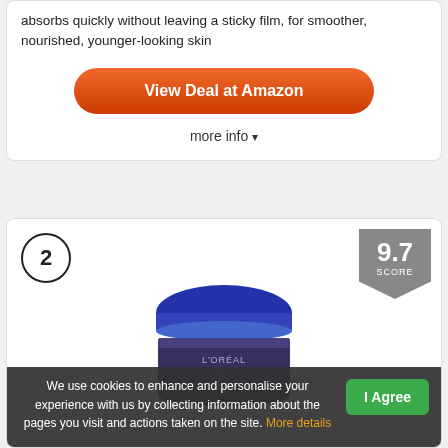absorbs quickly without leaving a sticky film, for smoother, nourished, younger-looking skin
View Deal at Amazon
more info ▾
2
9.7 SCORE
[Figure (photo): A jar of L'Oreal Paris Collagen face cream with blue and purple lid]
We use cookies to enhance and personalise your experience with us by collecting information about the pages you visit and actions taken on the site. More details
I Agree